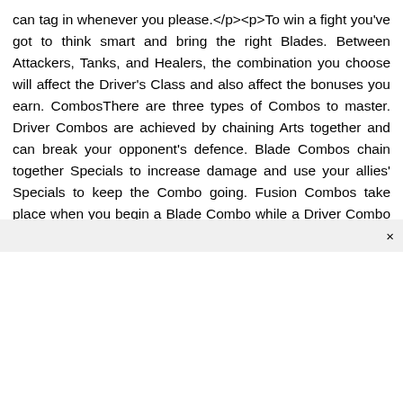can tag in whenever you please.</p><p>To win a fight you've got to think smart and bring the right Blades. Between Attackers, Tanks, and Healers, the combination you choose will affect the Driver's Class and also affect the bonuses you earn. CombosThere are three types of Combos to master. Driver Combos are achieved by chaining Arts together and can break your opponent's defence. Blade Combos chain together Specials to increase damage and use your allies' Specials to keep the Combo going. Fusion Combos take place when you begin a Blade Combo while a Driver Combo is in effect.</p>